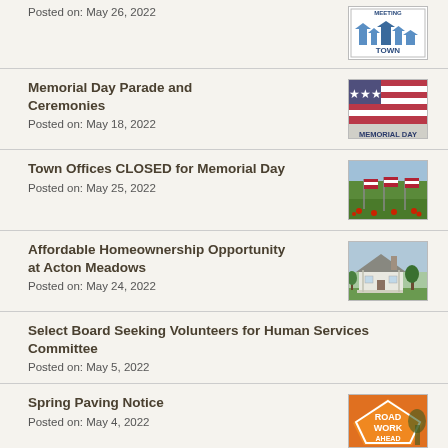Posted on: May 26, 2022
[Figure (illustration): Town Meeting logo with text TOWN MEETING in blue]
Memorial Day Parade and Ceremonies
Posted on: May 18, 2022
[Figure (photo): American flag waving with MEMORIAL DAY text]
Town Offices CLOSED for Memorial Day
Posted on: May 25, 2022
[Figure (photo): American flags planted in a green field]
Affordable Homeownership Opportunity at Acton Meadows
Posted on: May 24, 2022
[Figure (photo): White colonial house on green lawn]
Select Board Seeking Volunteers for Human Services Committee
Posted on: May 5, 2022
Spring Paving Notice
Posted on: May 4, 2022
[Figure (photo): Orange road work ahead sign]